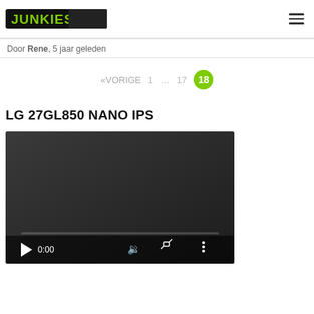JUNKIES [logo]
Door Rene, 5 jaar geleden
«VORIGE  1  ...  17  18
LG 27GL850 NANO IPS
[Figure (screenshot): Video player showing 0:00 timestamp with play button, volume, fullscreen and more options controls, and a progress bar at the bottom. Dark background.]